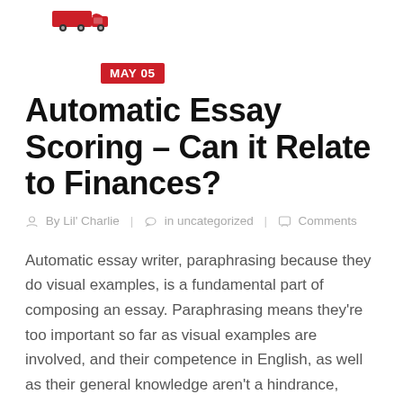[Figure (illustration): Red delivery truck icon above the date badge]
MAY 05
Automatic Essay Scoring – Can it Relate to Finances?
By Lil' Charlie  |  in uncategorized  |  Comments
Automatic essay writer, paraphrasing because they do visual examples, is a fundamental part of composing an essay. Paraphrasing means they're too important so far as visual examples are involved, and their competence in English, as well as their general knowledge aren't a hindrance, provided that the article topic is taken care of, in a sensible and rational method.